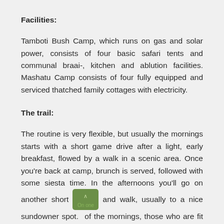Facilities:
Tamboti Bush Camp, which runs on gas and solar power, consists of four basic safari tents and communal braai-, kitchen and ablution facilities. Mashatu Camp consists of four fully equipped and serviced thatched family cottages with electricity.
The trail:
The routine is very flexible, but usually the mornings starts with a short game drive after a light, early breakfast, flowed by a walk in a scenic area. Once you're back at camp, brunch is served, followed with some siesta time. In the afternoons you'll go on another short drive and walk, usually to a nice sundowner spot. On one of the mornings, those who are fit enough, tackle the mountain to hike up to the vulture colony. These